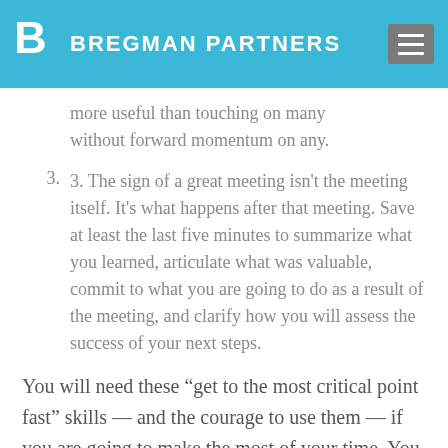BREGMAN PARTNERS
more useful than touching on many without forward momentum on any.
3.  3. The sign of a great meeting isn't the meeting itself. It's what happens after that meeting. Save at least the last five minutes to summarize what you learned, articulate what was valuable, commit to what you are going to do as a result of the meeting, and clarify how you will assess the success of your next steps.
You will need these “get to the most critical point fast” skills — and the courage to use them — if you are going to make the most of your time. You need to be bold, and even provocative. You need